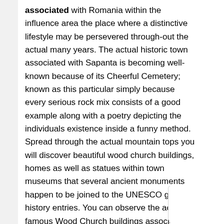associated with Romania within the influence area the place where a distinctive lifestyle may be persevered through-out the actual many years. The actual historic town associated with Sapanta is becoming well-known because of its Cheerful Cemetery; known as this particular simply because every serious rock mix consists of a good example along with a poetry depicting the individuals existence inside a funny method. Spread through the actual mountain tops you will discover beautiful wood church buildings, homes as well as statues within town museums that several ancient monuments happen to be joined to the UNESCO globe history entries. You can observe the actual famous Wood Church buildings associated with Maramures using the Background as well as Custom associated with Maramures Visit.
Ongoing about the North path visit The southern